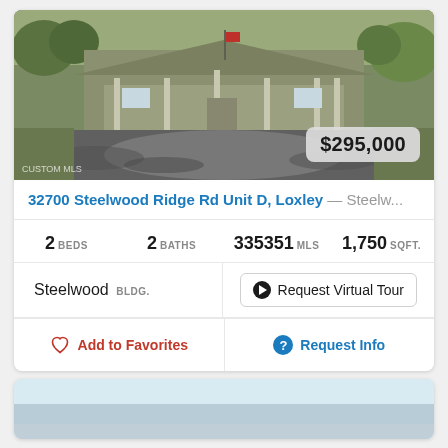[Figure (photo): Exterior photo of a single-story ranch-style house with a front porch and gravel driveway, surrounded by trees. Price badge shows $295,000.]
32700 Steelwood Ridge Rd Unit D, Loxley — Steelw...
2 BEDS  2 BATHS  335351 MLS  1,750 SQFT.
Steelwood BLDG.
Request Virtual Tour
Add to Favorites
Request Info
[Figure (photo): Partial view of a second property listing photo, showing a light blue water/sky scene, cut off at the bottom of the page.]